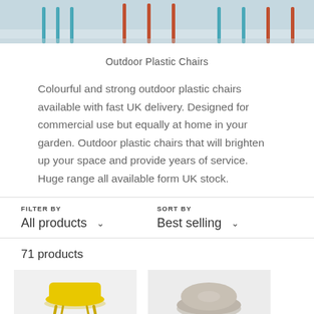[Figure (photo): Top banner photo showing colourful outdoor plastic chairs with blue and orange/red legs on a light grey floor]
Outdoor Plastic Chairs
Colourful and strong outdoor plastic chairs available with fast UK delivery. Designed for commercial use but equally at home in your garden. Outdoor plastic chairs that will brighten up your space and provide years of service. Huge range all available form UK stock.
FILTER BY
SORT BY
All products
Best selling
71 products
[Figure (photo): Yellow outdoor plastic chair thumbnail]
[Figure (photo): Grey/beige outdoor plastic chair thumbnail]